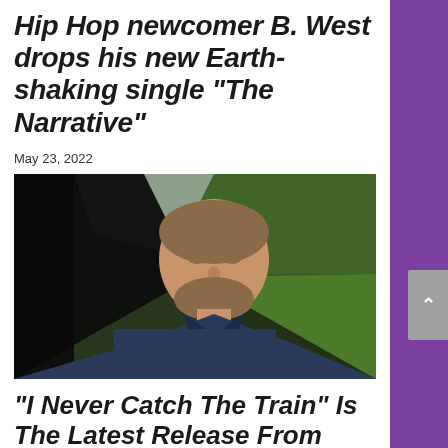Hip Hop newcomer B. West drops his new Earth-shaking single "The Narrative"
May 23, 2022
[Figure (photo): A man with short brown hair and a beard wearing a dark navy jacket, looking downward. Background shows a blurred outdoor scene with green trees and grass, partially framed by dark triangular shapes creating a diamond/rotated-square crop effect.]
"I Never Catch The Train" Is The Latest Release From Chicago Singer-